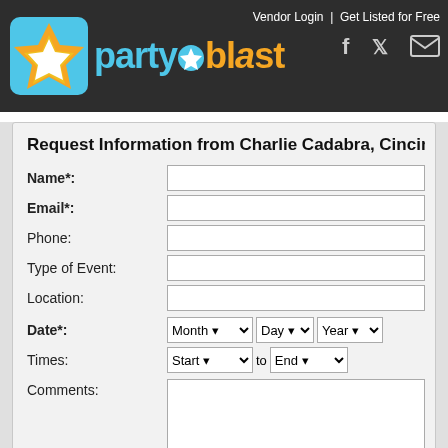partyblast — Vendor Login | Get Listed for Free
Request Information from Charlie Cadabra, Cincinnati's P...
Name*:
Email*:
Phone:
Type of Event:
Location:
Date*: Month / Day / Year
Times: Start to End
Comments:
Enter Security Code: 292803
Save my info so I can contact other vendors. (Note: Your information will be stored in a cook...)
Send Email